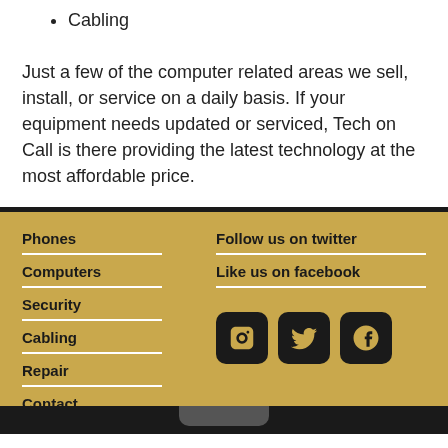Cabling
Just a few of the computer related areas we sell, install, or service on a daily basis. If your equipment needs updated or serviced, Tech on Call is there providing the latest technology at the most affordable price.
Phones | Computers | Security | Cabling | Repair | Contact | Follow us on twitter | Like us on facebook | [Facebook icon] [Twitter icon] [Google+ icon]